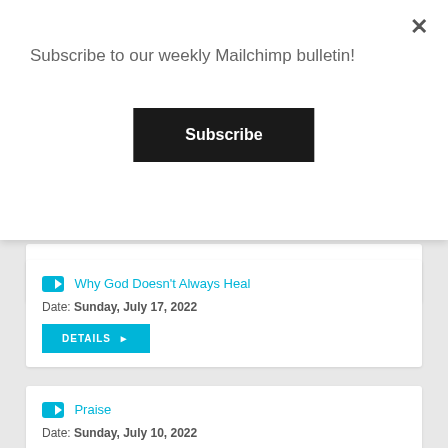Subscribe to our weekly Mailchimp bulletin!
Subscribe
DETAILS ▶
Why God Doesn't Always Heal
Date: Sunday, July 17, 2022
DETAILS ▶
Praise
Date: Sunday, July 10, 2022
DETAILS ▶